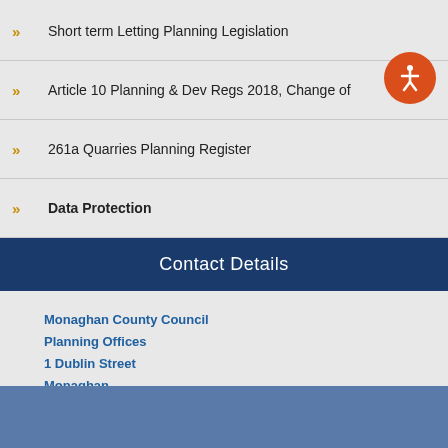Short term Letting Planning Legislation
Article 10 Planning & Dev Regs 2018, Change of
261a Quarries Planning Register
Data Protection
Contact Details
Monaghan County Council
Planning Offices
1 Dublin Street
Monaghan
H18 X982
Telephone: 047 30532
Email:planning@monaghancoco.ie